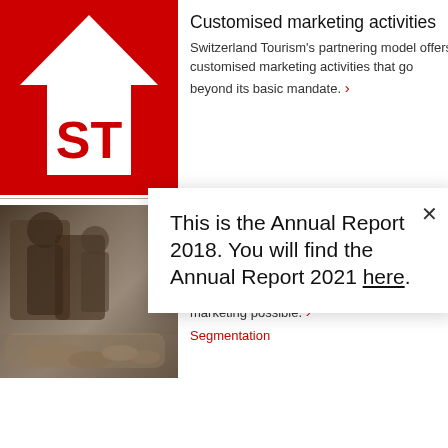[Figure (logo): Switzerland Tourism red logo block with white house/arrow shape and ST letters]
Customised marketing activities
Switzerland Tourism's partnering model offers customised marketing activities that go beyond its basic mandate. ❯
[Figure (photo): Photo of people (craftsmen/workers) bent over a table working with clay/wood objects]
...trategy
13
...eds.
This segmentation makes precise visitor marketing possible. ❯
Segmentation
This is the Annual Report 2018. You will find the Annual Report 2021 here.